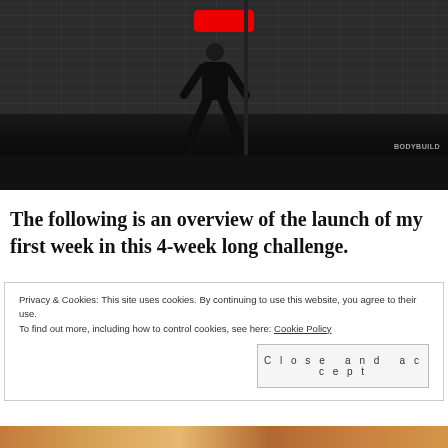[Figure (photo): Screenshot of a fitness/bodybuilding video showing a person performing a squat exercise in a gym with brick walls and a barbell rack. A red play button is visible at the top. A 'BODYBUILD' watermark is visible in the bottom right corner. The scene is dark/dimly lit.]
The following is an overview of the launch of my first week in this 4-week long challenge.
Privacy & Cookies: This site uses cookies. By continuing to use this website, you agree to their use.
To find out more, including how to control cookies, see here: Cookie Policy
Close and accept
[Figure (photo): Partial view of a photo at the bottom of the page, showing warm orange/brown tones suggesting a food or person image.]